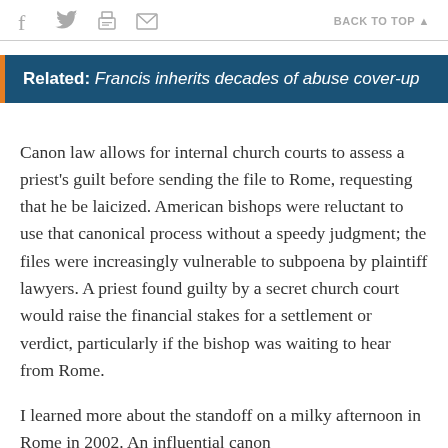f  [twitter]  [print]  [mail]   BACK TO TOP ▲
Related: Francis inherits decades of abuse cover-up
Canon law allows for internal church courts to assess a priest's guilt before sending the file to Rome, requesting that he be laicized. American bishops were reluctant to use that canonical process without a speedy judgment; the files were increasingly vulnerable to subpoena by plaintiff lawyers. A priest found guilty by a secret church court would raise the financial stakes for a settlement or verdict, particularly if the bishop was waiting to hear from Rome.
I learned more about the standoff on a milky afternoon in Rome in 2002. An influential canon